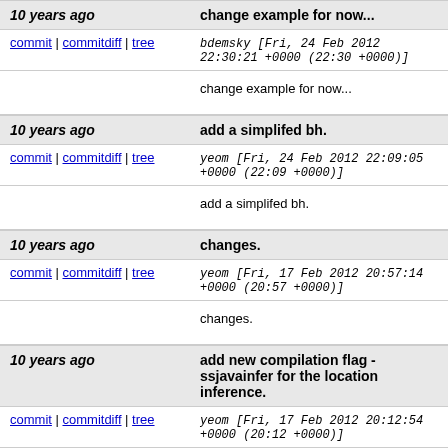10 years ago | change example for now...
commit | commitdiff | tree  bdemsky [Fri, 24 Feb 2012 22:30:21 +0000 (22:30 +0000)]
change example for now...
10 years ago | add a simplifed bh.
commit | commitdiff | tree  yeom [Fri, 24 Feb 2012 22:09:05 +0000 (22:09 +0000)]
add a simplifed bh.
10 years ago | changes.
commit | commitdiff | tree  yeom [Fri, 17 Feb 2012 20:57:14 +0000 (20:57 +0000)]
changes.
10 years ago | add new compilation flag -ssjavainfer for the location inference.
commit | commitdiff | tree  yeom [Fri, 17 Feb 2012 20:12:54 +0000 (20:12 +0000)]
add new compilation flag -ssjavainfer for the location inference.